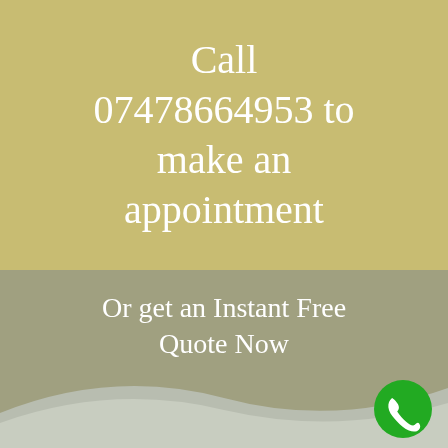Call 07478664953 to make an appointment
Or get an Instant Free Quote Now
[Figure (illustration): Green circular phone call button icon in bottom-right corner]